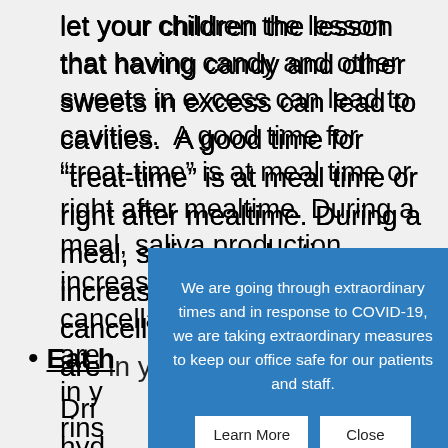let your children the lesson that having candy and other sweets in excess can lead to cavities.  A good time for “treat-time” is at meal time or right after mealtime. During a meal, saliva production increases, and this aids in the cancellation of the acids that are [partially obscured] in y[our mouth. Also] rins[e with water]
Eat h[ealthy foods]
Dri[nking water keeps you] hyd[rated and washes away] any [bacteria and acids in] your mouth, so make sure you
[Figure (infographic): Blue modal dialog box overlaying the page content. Text reads: 'We are going through extraordinary times and in response to COVID-19, we are taking extraordinary measures to keep our office safe for our patients and staff.' Two white buttons below: 'Learn More' and 'Close'.]